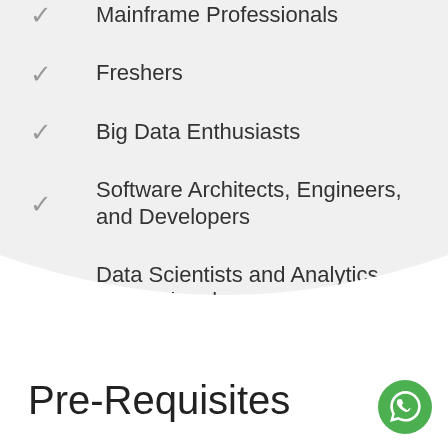Mainframe Professionals
Freshers
Big Data Enthusiasts
Software Architects, Engineers, and Developers
Data Scientists and Analytics Professionals
Pre-Requisites